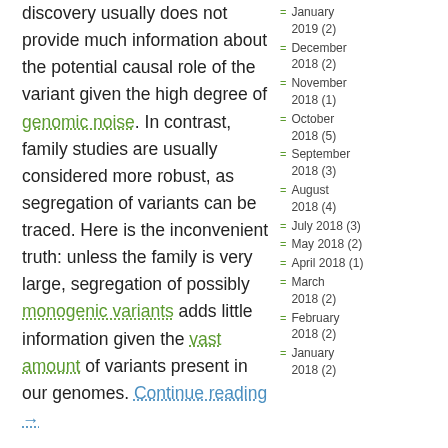discovery usually does not provide much information about the potential causal role of the variant given the high degree of genomic noise. In contrast, family studies are usually considered more robust, as segregation of variants can be traced. Here is the inconvenient truth: unless the family is very large, segregation of possibly monogenic variants adds little information given the vast amount of variants present in our genomes. Continue reading →
Posted in 2013, Bioinformatics, Epileptic encephalopathy, EuroEPINOMICS, Familial epilepsies, Ideas, IGE/GGE, Meetings, Papers | 7 Comments
January 2019 (2)
December 2018 (2)
November 2018 (1)
October 2018 (5)
September 2018 (3)
August 2018 (4)
July 2018 (3)
May 2018 (2)
April 2018 (1)
March 2018 (2)
February 2018 (2)
January 2018 (2)